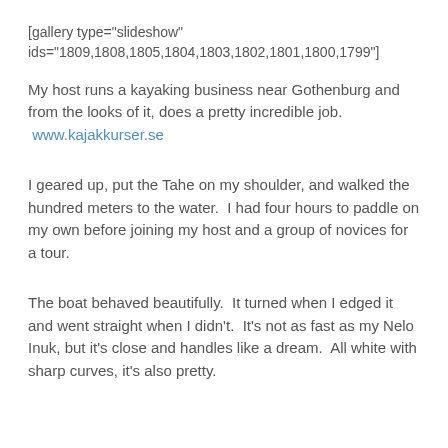[gallery type="slideshow" ids="1809,1808,1805,1804,1803,1802,1801,1800,1799"]
My host runs a kayaking business near Gothenburg and from the looks of it, does a pretty incredible job. www.kajakkurser.se
I geared up, put the Tahe on my shoulder, and walked the hundred meters to the water.  I had four hours to paddle on my own before joining my host and a group of novices for a tour.
The boat behaved beautifully.  It turned when I edged it and went straight when I didn't.  It's not as fast as my Nelo Inuk, but it's close and handles like a dream.  All white with sharp curves, it's also pretty.